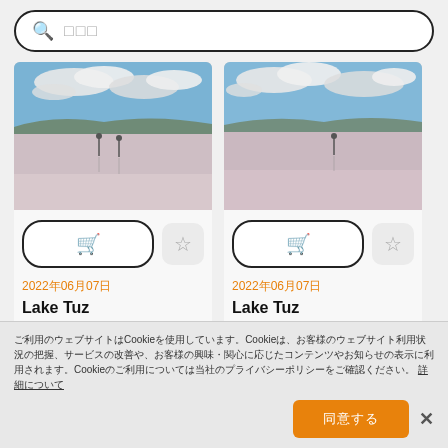検索 □□□
[Figure (photo): Lake Tuz salt lake photo with figures standing on reflective water surface, cloudy sky]
[Figure (photo): Lake Tuz salt lake photo with figures standing on reflective water surface, cloudy sky (second image)]
2022年06月07日
Lake Tuz
June 7, 2022, Ankara, Istanbul, Turkey: Lake Tuz is the second
2022年06月07日
Lake Tuz
June 7, 2022, Ankara, Istanbul, Turkey: Lake Tuz is the second
ご利用のウェブサイトはCookieを使用しています。Cookieは、お客様のウェブサイト利用状況の把握、サービスの改善や、お客様の興味・関心に応じたコンテンツやお知らせの表示に利用されます。Cookieのご利用については当社のプライバシーポリシーをご確認ください。 詳細について